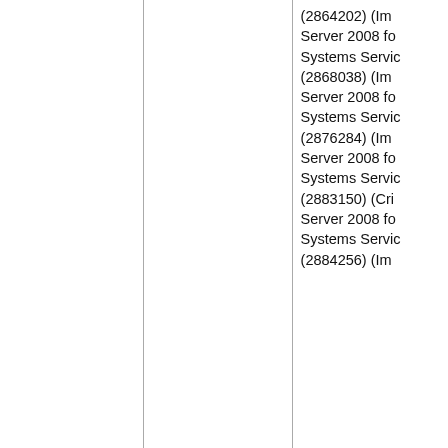| Operating System | Component | Maximum Security Impact |
| --- | --- | --- |
|  |  | (2864202) (Im
Server 2008 fo
Systems Servic
(2868038) (Im
Server 2008 fo
Systems Servic
(2876284) (Im
Server 2008 fo
Systems Servic
(2883150) (Cri
Server 2008 fo
Systems Servic
(2884256) (Im |
| Windows Server 2008 for Itanium-based Systems Service Pack 2 | Internet Explorer 7 (2879017) (Moderate) | Windows Serv
Itanium-based
Pack 2 (28473
Windows Serv
Itanium-based
Pack 2 (28623
Windows Serv
Itanium-based |